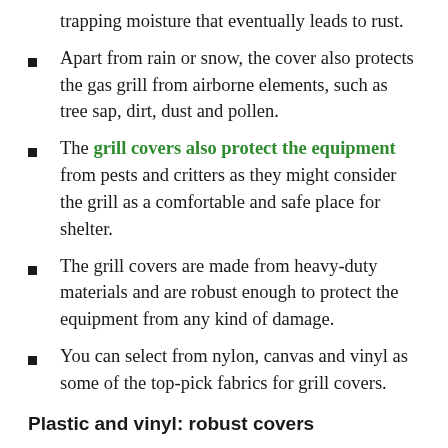trapping moisture that eventually leads to rust.
Apart from rain or snow, the cover also protects the gas grill from airborne elements, such as tree sap, dirt, dust and pollen.
The grill covers also protect the equipment from pests and critters as they might consider the grill as a comfortable and safe place for shelter.
The grill covers are made from heavy-duty materials and are robust enough to protect the equipment from any kind of damage.
You can select from nylon, canvas and vinyl as some of the top-pick fabrics for grill covers.
Plastic and vinyl: robust covers
The best-quality grill covers are made from vinyl and plastic and they...